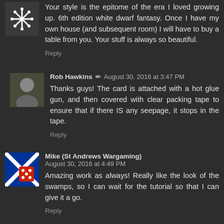Your style is the epitome of the era I loved growing up. 6th edition white dwarf fantasy. Once I have my own house (and subsequent room) I will have to buy a table from you. Your stuff is always so beautiful.
Reply
Rob Hawkins ✏ August 30, 2016 at 3:47 PM
Thanks guys! The card is attached with a hot glue gun, and then covered with clear packing tape to ensure that if there IS any seepage, it stops in the tape.
Reply
Mike (St Andrews Wargaming) August 30, 2016 at 4:49 PM
Amazing work as always! Really like the look of the swamps, so I can wait for the tutorial so that I can give it a go.
Reply